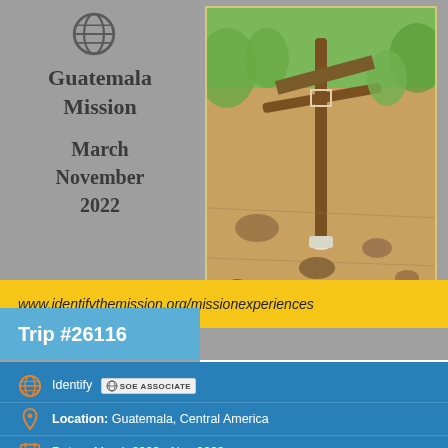Guatemala Mission
March
November
2022
[Figure (photo): Outdoor photo of a rocky ground with a wooden cross or stake tied with branches in a rural agricultural setting with greenery in the background]
www.identifythemission.org/missionexperiences
Trip #26116
Identify [SOE ASSOCIATE badge]
Location: Guatemala, Central America
Dates: March 2022 - Nov 2022